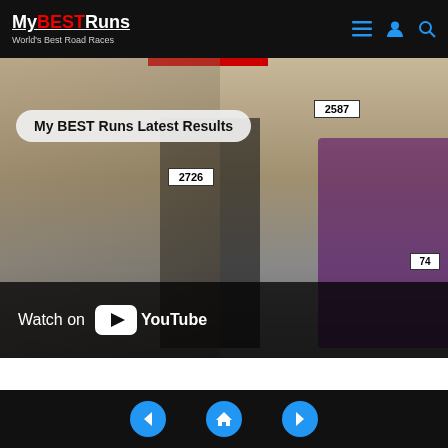My BEST Runs — World's Best Road Races
[Figure (screenshot): YouTube video thumbnail showing road race runners with bib numbers 2587, 2726, and 74, with title overlay 'My BEST Runs Latest Results' and YouTube Watch on button]
Navigation footer with back, home, and forward buttons